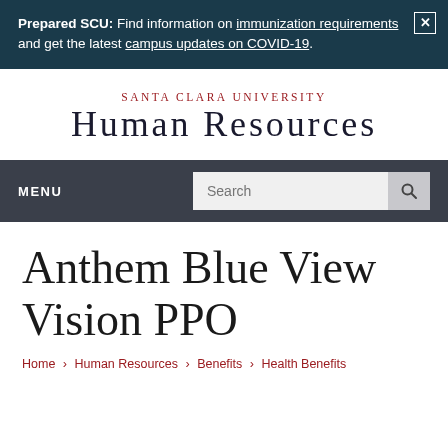Prepared SCU: Find information on immunization requirements and get the latest campus updates on COVID-19.
[Figure (logo): Santa Clara University Human Resources logo with red subtitle text 'SANTA CLARA UNIVERSITY' and large dark serif text 'HUMAN RESOURCES']
MENU
Anthem Blue View Vision PPO
Home → Human Resources → Benefits → Health Benefits